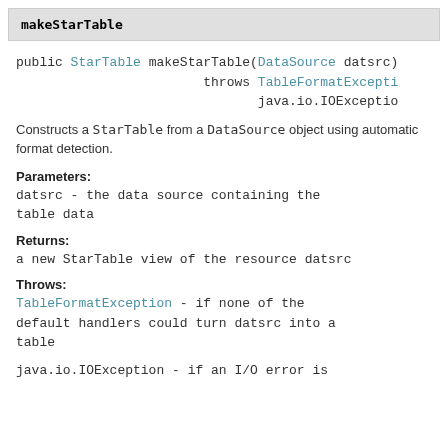makeStarTable
public StarTable makeStarTable(DataSource datsrc)
                        throws TableFormatException,
                               java.io.IOException
Constructs a StarTable from a DataSource object using automatic format detection.
Parameters:
datsrc - the data source containing the table data
Returns:
a new StarTable view of the resource datsrc
Throws:
TableFormatException - if none of the default handlers could turn datsrc into a table
java.io.IOException - if an I/O error is